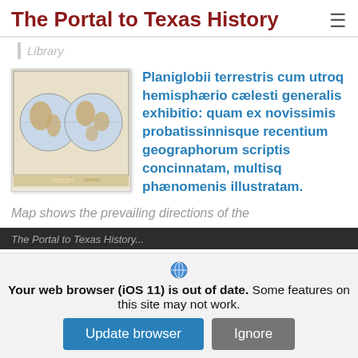The Portal to Texas History
Library
[Figure (map): Thumbnail of an antique world map showing two hemispheres with decorative borders]
Planiglobii terrestris cum utroq hemisphærio cælesti generalis exhibitio: quam ex novissimis probatissinnisque recentium geographorum scriptis concinnatam, multisq phænomenis illustratam.
Map shows the prevailing directions of the
The Portal to Texas History...
Your web browser (iOS 11) is out of date. Some features on this site may not work.